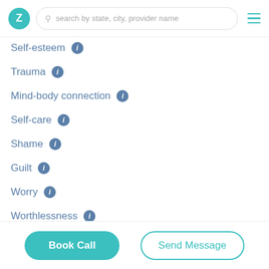Z | search by state, city, provider name
Self-esteem
Trauma
Mind-body connection
Self-care
Shame
Guilt
Worry
Worthlessness
Treatment approaches
Book Call | Send Message